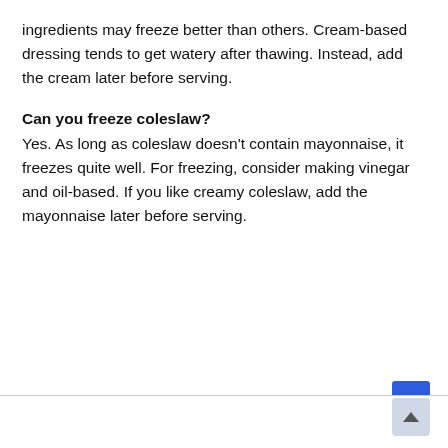ingredients may freeze better than others. Cream-based dressing tends to get watery after thawing. Instead, add the cream later before serving.
Can you freeze coleslaw?
Yes. As long as coleslaw doesn’t contain mayonnaise, it freezes quite well. For freezing, consider making vinegar and oil-based. If you like creamy coleslaw, add the mayonnaise later before serving.